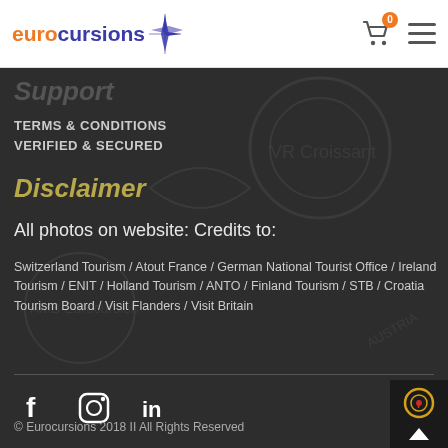eurocursions [logo with compass icon, cart icon with badge 0, hamburger menu]
Support
TERMS & CONDITIONS
VERIFIED & SECURED
Disclaimer
All photos on website: Credits to:
Switzerland Tourism / Atout France / German National Tourist Office / Ireland Tourism / ENIT / Holland Tourism / ANTO / Finland Tourism / STB / Croatia Tourism Board / Visit Flanders / Visit Britain
[Figure (illustration): Social media icons: Facebook (f), Instagram (camera), LinkedIn (in)]
© Eurocursions 2018 II All Rights Reserved